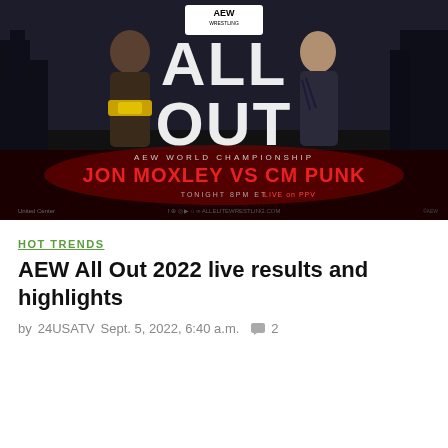[Figure (photo): AEW All Out 2022 promotional image showing Jon Moxley and CM Punk face-to-face. Text reads: AEW Wrestling All Out, AEW World Championship, Jon Moxley vs CM Punk, Tonight 8PM ET Live on PPV, United Center Arena, social media icons and website.]
HOT TRENDS
AEW All Out 2022 live results and highlights
by 24USATV  Sept. 5, 2022, 6:40 a.m.  💬 2